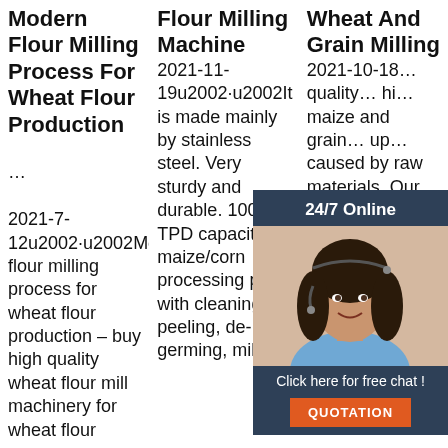Modern Flour Milling Process For Wheat Flour Production …
2021-7-12u2002·u2002Modern flour milling process for wheat flour production – buy high quality wheat flour mill machinery for wheat flour
Flour Milling Machine
2021-11-19u2002·u2002It is made mainly by stainless steel. Very sturdy and durable. 100 TPD capacity maize/corn processing plant with cleaning, peeling, de-germing, milling
Wheat And Grain Milling
2021-10-18… quality… high… maize and grain… up… caused by raw materials. Our processes and equipment are therefore
[Figure (other): Customer service overlay panel with 24/7 Online banner, agent photo, Click here for free chat text, and QUOTATION orange button]